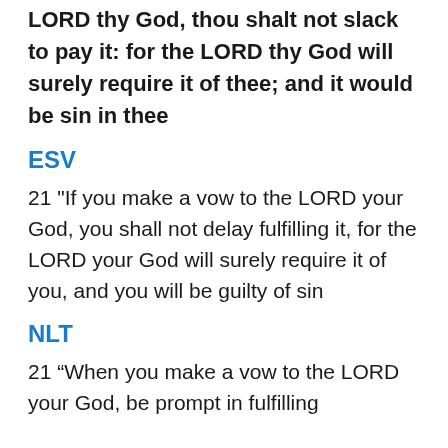LORD thy God, thou shalt not slack to pay it: for the LORD thy God will surely require it of thee; and it would be sin in thee
ESV
21 "If you make a vow to the LORD your God, you shall not delay fulfilling it, for the LORD your God will surely require it of you, and you will be guilty of sin
NLT
21 “When you make a vow to the LORD your God, be prompt in fulfilling